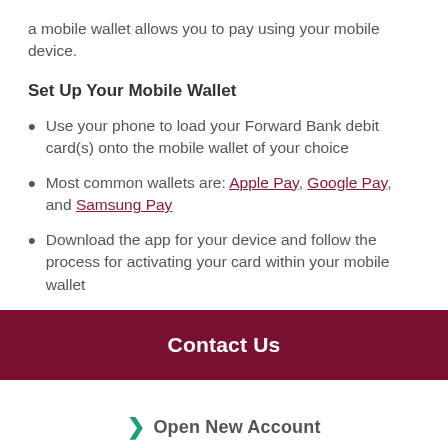a mobile wallet allows you to pay using your mobile device.
Set Up Your Mobile Wallet
Use your phone to load your Forward Bank debit card(s) onto the mobile wallet of your choice
Most common wallets are: Apple Pay, Google Pay, and Samsung Pay
Download the app for your device and follow the process for activating your card within your mobile wallet
Contact Us
Open New Account